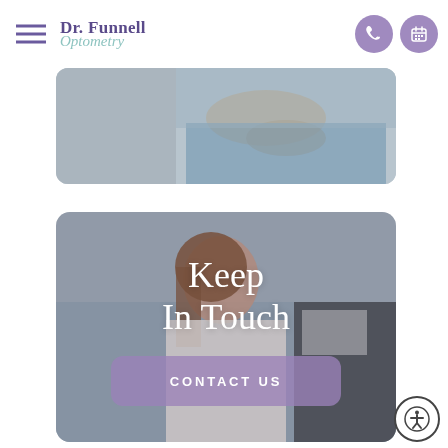Dr. Funnell Optometry
[Figure (photo): Partial view of a person holding something, cropped image showing hands and upper torso in a blue shirt]
[Figure (photo): Young woman smiling and taking a selfie on a beach, with overlay text 'Keep In Touch' and a 'CONTACT US' button]
Keep In Touch
CONTACT US